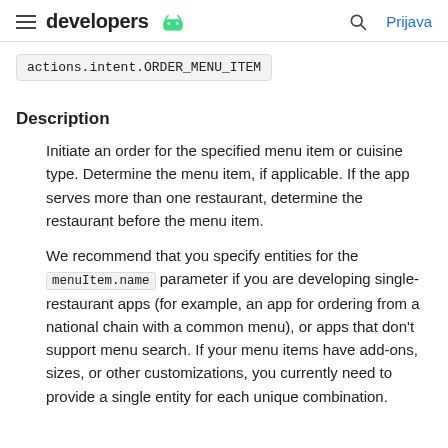developers  Prijava
actions.intent.ORDER_MENU_ITEM
Description
Initiate an order for the specified menu item or cuisine type. Determine the menu item, if applicable. If the app serves more than one restaurant, determine the restaurant before the menu item.
We recommend that you specify entities for the menuItem.name parameter if you are developing single-restaurant apps (for example, an app for ordering from a national chain with a common menu), or apps that don't support menu search. If your menu items have add-ons, sizes, or other customizations, you currently need to provide a single entity for each unique combination.